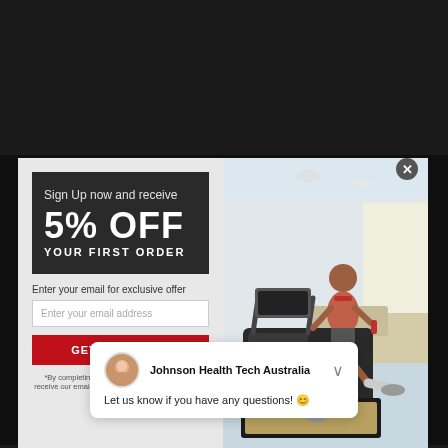[Figure (screenshot): Website popup modal with email sign-up offer for 5% OFF first order, overlaid on a fitness equipment product page. Left panel shows dark promo box with '5% OFF YOUR FIRST ORDER', email input field, and red CTA button. Right panel shows photo of man running on treadmill in home setting.]
Sign Up now and receive
5% OFF
YOUR FIRST ORDER
Enter your email for exclusive offer
Enter your email address
GET MY 5% OFF
*By completing this form you are signing up to receive our emails and can unsubscribe at any time.
Johnson Health Tech Australia
Let us know if you have any questions! 😊
pedal spacing to create the feel of real outdoor cycling...